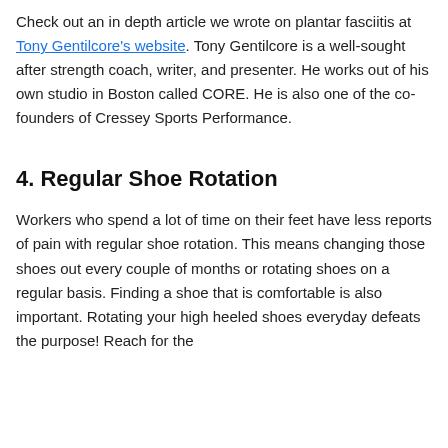Check out an in depth article we wrote on plantar fasciitis at Tony Gentilcore's website. Tony Gentilcore is a well-sought after strength coach, writer, and presenter. He works out of his own studio in Boston called CORE. He is also one of the co-founders of Cressey Sports Performance.
4. Regular Shoe Rotation
Workers who spend a lot of time on their feet have less reports of pain with regular shoe rotation. This means changing those shoes out every couple of months or rotating shoes on a regular basis. Finding a shoe that is comfortable is also important. Rotating your high heeled shoes everyday defeats the purpose! Reach for the